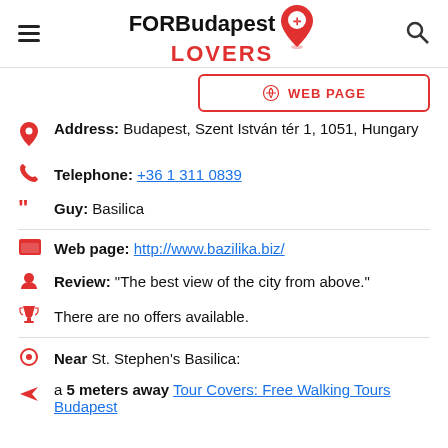FORBudapest LOVERS
WEB PAGE
Address: Budapest, Szent István tér 1, 1051, Hungary
Telephone: +36 1 311 0839
Guy: Basilica
Web page: http://www.bazilika.biz/
Review: "The best view of the city from above."
There are no offers available.
Near St. Stephen's Basilica:
a 5 meters away Tour Covers: Free Walking Tours Budapest